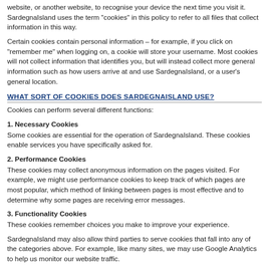website, or another website, to recognise your device the next time you visit it. SardegnaIsland uses the term "cookies" in this policy to refer to all files that collect information in this way.
Certain cookies contain personal information – for example, if you click on "remember me" when logging on, a cookie will store your username. Most cookies will not collect information that identifies you, but will instead collect more general information such as how users arrive at and use SardegnaIsland, or a user's general location.
WHAT SORT OF COOKIES DOES SARDEGNAISLAND USE?
Cookies can perform several different functions:
1. Necessary Cookies
Some cookies are essential for the operation of SardegnaIsland. These cookies enable services you have specifically asked for.
2. Performance Cookies
These cookies may collect anonymous information on the pages visited. For example, we might use performance cookies to keep track of which pages are most popular, which method of linking between pages is most effective and to determine why some pages are receiving error messages.
3. Functionality Cookies
These cookies remember choices you make to improve your experience.
SardegnaIsland may also allow third parties to serve cookies that fall into any of the categories above. For example, like many sites, we may use Google Analytics to help us monitor our website traffic.
CAN A BOARD USER BLOCK COOKIES?
To find out how to manage which cookies you allow, see your browser's help section or your mobile device manual - or you can visit one of the sites below, which have detailed information on how to manage, control or delete cookies.